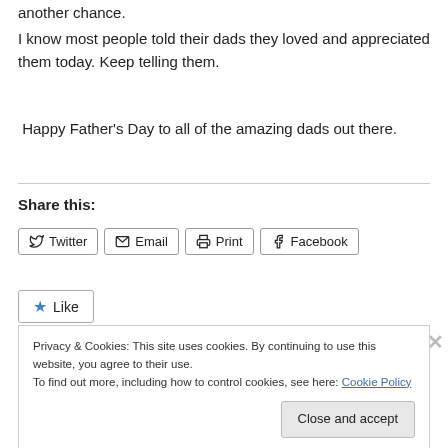another chance.
I know most people told their dads they loved and appreciated them today.  Keep telling them.
Happy Father’s Day to all of the amazing dads out there.
Share this:
Twitter  Email  Print  Facebook
Like
Privacy & Cookies: This site uses cookies. By continuing to use this website, you agree to their use.
To find out more, including how to control cookies, see here: Cookie Policy
Close and accept